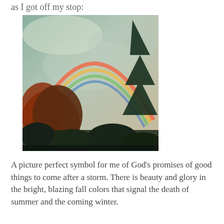as I got off my stop:
[Figure (photo): Outdoor photo showing a rainbow arching over autumn trees with orange and red foliage against a cloudy sky]
A picture perfect symbol for me of God's promises of good things to come after a storm. There is beauty and glory in the bright, blazing fall colors that signal the death of summer and the coming winter.
[Figure (photo): Outdoor photo showing autumn trees with orange and red foliage against an overcast grey sky, partially cropped at bottom of page]